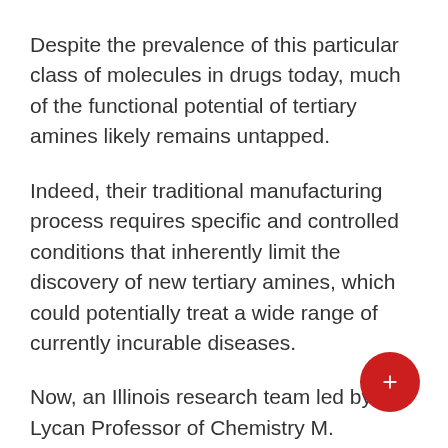Despite the prevalence of this particular class of molecules in drugs today, much of the functional potential of tertiary amines likely remains untapped.
Indeed, their traditional manufacturing process requires specific and controlled conditions that inherently limit the discovery of new tertiary amines, which could potentially treat a wide range of currently incurable diseases.
Now, an Illinois research team led by Lycan Professor of Chemistry M. Christina White and graduate students Siraj Ali, Brenna Budaitis, and Devon Fontaine have discovered a new chemical reaction, a carbon-carbon amination cross-coupling reaction. hydrogen, which creates a faster